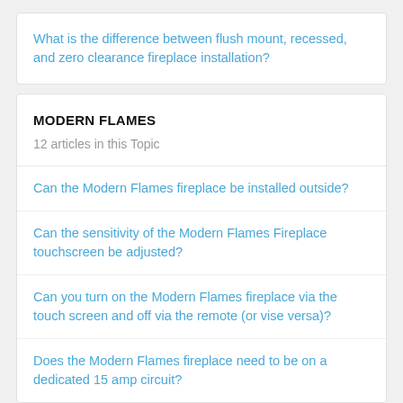What is the difference between flush mount, recessed, and zero clearance fireplace installation?
MODERN FLAMES
12 articles in this Topic
Can the Modern Flames fireplace be installed outside?
Can the sensitivity of the Modern Flames Fireplace touchscreen be adjusted?
Can you turn on the Modern Flames fireplace via the touch screen and off via the remote (or vise versa)?
Does the Modern Flames fireplace need to be on a dedicated 15 amp circuit?